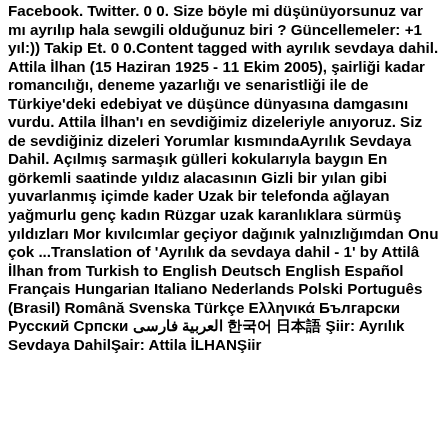Facebook. Twitter. 0 0. Size böyle mi düşünüyorsunuz var mı ayrılıp hala sewgili olduğunuz biri ? Güncellemeler: +1 yıl:)) Takip Et. 0 0.Content tagged with ayrılık sevdaya dahil. Attila İlhan (15 Haziran 1925 - 11 Ekim 2005), şairliği kadar romancılığı, deneme yazarlığı ve senaristliği ile de Türkiye'deki edebiyat ve düşünce dünyasına damgasını vurdu. Attila İlhan'ı en sevdiğimiz dizeleriyle anıyoruz. Siz de sevdiğiniz dizeleri Yorumlar kısmındaAyrılık Sevdaya Dahil. Açılmış sarmaşık gülleri kokularıyla baygın En görkemli saatinde yıldız alacasının Gizli bir yılan gibi yuvarlanmış içimde kader Uzak bir telefonda ağlayan yağmurlu genç kadın Rüzgar uzak karanlıklara sürmüş yıldızları Mor kıvılcımlar geçiyor dağınık yalnızlığımdan Onu çok ...Translation of 'Ayrılık da sevdaya dahil - 1' by Attilâ İlhan from Turkish to English Deutsch English Español Français Hungarian Italiano Nederlands Polski Português (Brasil) Română Svenska Türkçe Ελληνικά Български Русский Српски العربية فارسی 한국어 日本語 Şiir: Ayrılık Sevdaya DahilŞair: Attila İLHANŞiir